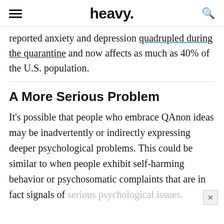heavy.
reported anxiety and depression quadrupled during the quarantine and now affects as much as 40% of the U.S. population.
A More Serious Problem
It's possible that people who embrace QAnon ideas may be inadvertently or indirectly expressing deeper psychological problems. This could be similar to when people exhibit self-harming behavior or psychosomatic complaints that are in fact signals of serious psychological issues.